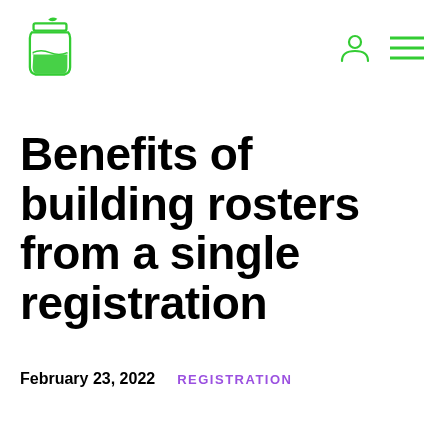Logo and navigation icons
Benefits of building rosters from a single registration
February 23, 2022   REGISTRATION